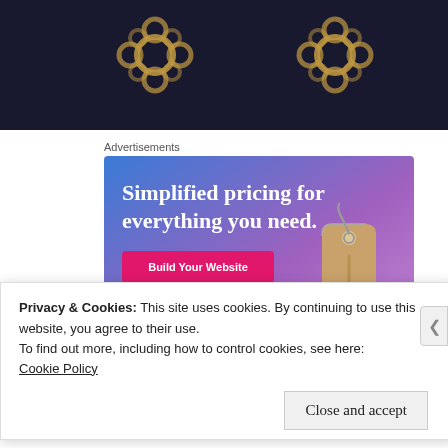[Figure (photo): Dark background image with decorative glowing golden geometric/floral shapes repeated twice against a near-black background]
Advertisements
[Figure (infographic): Advertisement banner with gradient blue-purple background showing text 'Simplified pricing for everything you need.' with a pink 'Build Your Website' button and a 3D price tag illustration]
Privacy & Cookies: This site uses cookies. By continuing to use this website, you agree to their use.
To find out more, including how to control cookies, see here:
Cookie Policy
Close and accept